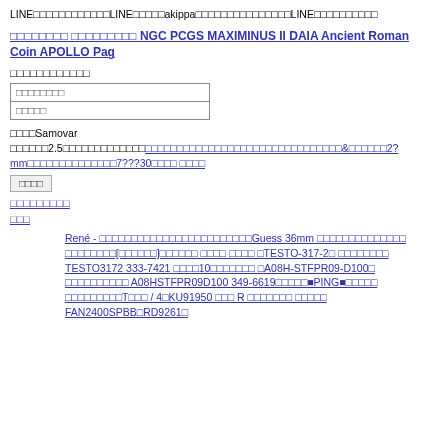LINE□□□□□□□□□□□□LINE□□□□□akippa□□□□□□□□□□□□□□□LINE□□□□□□□□□□
□□□□□□□□ □□□□□□□□□ NGC PCGS MAXIMINUS II DAIA Ancient Roman Coin APOLLO Pag
□□□□□□□□□□□□
| □□□□□□□□ |
| □□□□□ |
□□□□Samovar □□□□□□2.5□□□□□□□□□□□□□□□□□□□□□□□□□□□□□□□□□□□□□□□□&□□□□□□2?mm□□□□□□□□□□□□□□7???30□□□□ □□□□
□□□□
□□□□□□□□□
□□□
René - □□□□□□□□□□□□□□□□□□□□□□□□Guess 36mm □□□□□□□□□□□□□□ □□□□□□□□[□□□□□□]□□□□□□ □□□□ □□□□ □TESTO-317-2□ □□□□□□□□ TESTO3172 333-7421 □□□□10□□□□□□□ □A08H-STFPR09-D100□ □□□□□□□□□□ A08HSTFPR09D100 349-6619□□□□□■PING■□□□□□ □□□□□□□□□T□□□ / 4□KU91950 □□□ R □□□□□□□ □□□□□ FAN2400SPBB□RD9261□